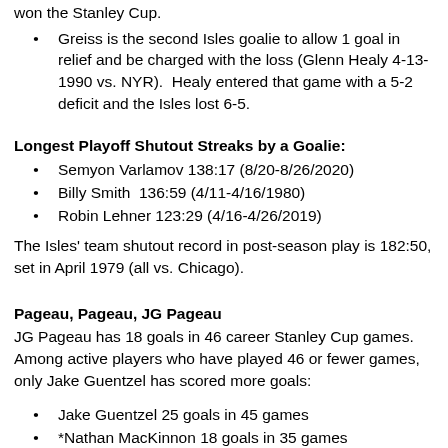won the Stanley Cup.
Greiss is the second Isles goalie to allow 1 goal in relief and be charged with the loss (Glenn Healy 4-13-1990 vs. NYR).  Healy entered that game with a 5-2 deficit and the Isles lost 6-5.
Longest Playoff Shutout Streaks by a Goalie:
Semyon Varlamov 138:17 (8/20-8/26/2020)
Billy Smith  136:59 (4/11-4/16/1980)
Robin Lehner 123:29 (4/16-4/26/2019)
The Isles' team shutout record in post-season play is 182:50, set in April 1979 (all vs. Chicago).
Pageau, Pageau, JG Pageau
JG Pageau has 18 goals in 46 career Stanley Cup games. Among active players who have played 46 or fewer games, only Jake Guentzel has scored more goals:
Jake Guentzel 25 goals in 45 games
*Nathan MacKinnon 18 goals in 35 games
JG Pageau 18 goals in 46 games